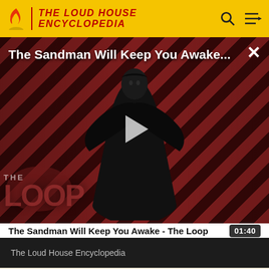THE LOUD HOUSE ENCYCLOPEDIA
[Figure (screenshot): Video thumbnail for 'The Sandman Will Keep You Awake - The Loop' showing a dark figure in a black cape against a red and black diagonal striped background with THE LOOP logo watermark. A play button is overlaid in the center.]
The Sandman Will Keep You Awake - The Loop   01:40
The Loud House Encyclopedia
[Figure (screenshot): Partial thumbnail showing 'THE LOUD HOUSE' text in dark red on a light tan/cream background]